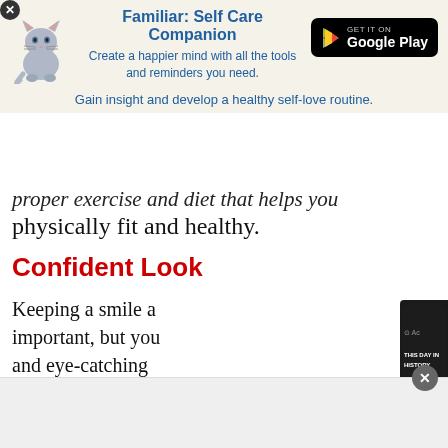[Figure (infographic): Advertisement banner for 'Familiar: Self Care Companion' app with cat illustration, Google Play button, and promotional text]
proper exercise and diet that helps you physically fit and healthy.
Confident Look
Keeping a smile a... important, but you... and eye-catching ... toward you. If you... anything, people w... in you.
[Figure (screenshot): Video overlay showing 'This Day in History' with date August 5, video player controls including mute and fullscreen buttons]